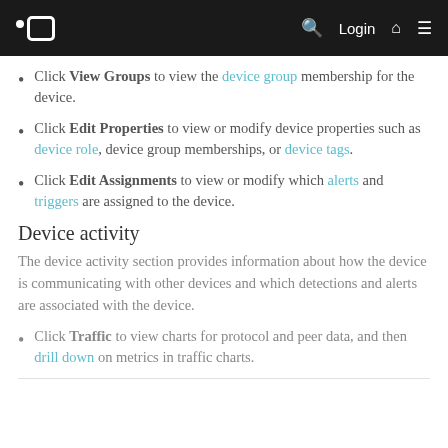Navigation bar with logo, search, Login, home, and menu icons
Click View Groups to view the device group membership for the device.
Click Edit Properties to view or modify device properties such as device role, device group memberships, or device tags.
Click Edit Assignments to view or modify which alerts and triggers are assigned to the device.
Device activity
The device activity section provides information about how the device is communicating with other devices and which detections and alerts are associated with the device.
Click Traffic to view charts for protocol and peer data, and then drill down on metrics in traffic charts.